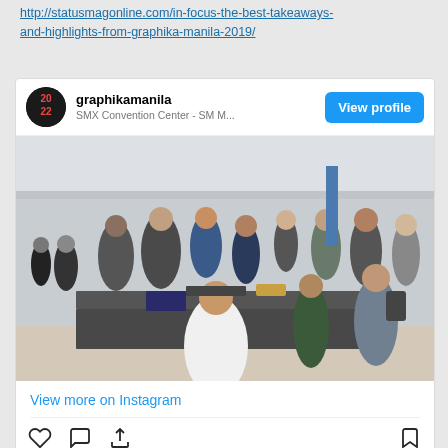http://statusmagoniine.com/in-focus-the-best-takeaways-and-highlights-from-graphika-manila-2019/
[Figure (screenshot): Instagram post card from graphikamanila account showing a crowded convention event at SMX Convention Center - SM. The card includes a profile header with avatar, a 'View profile' button, a photo of people at signing tables in a convention hall, a 'View more on Instagram' link, action icons (like, comment, share, bookmark), and a likes count.]
View more on Instagram
600 likes